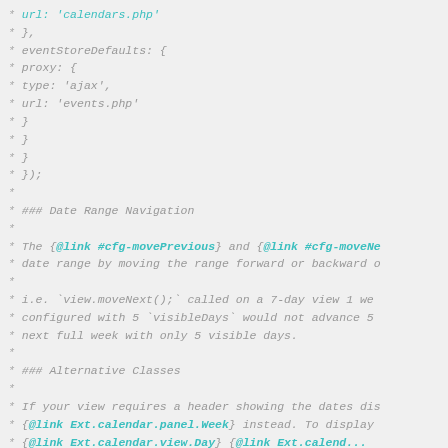Code comment block showing configuration options and documentation for Date Range Navigation and Alternative Classes in a calendar/scheduler JavaScript API
* url: 'calendars.php'
* },
* eventStoreDefaults: {
*     proxy: {
*         type: 'ajax',
*         url: 'events.php'
*     }
* }
* }
* });
*
* ### Date Range Navigation
*
* The {@link #cfg-movePrevious} and {@link #cfg-moveNe
* date range by moving the range forward or backward o
*
* i.e. `view.moveNext();` called on a 7-day view 1 we
* configured with 5 `visibleDays` would not advance 5
* next full week with only 5 visible days.
*
* ### Alternative Classes
*
* If your view requires a header showing the dates dis
* {@link Ext.calendar.panel.Week} instead. To display
* {@link Ext.calendar.view.Day} {@link Ext.calend...